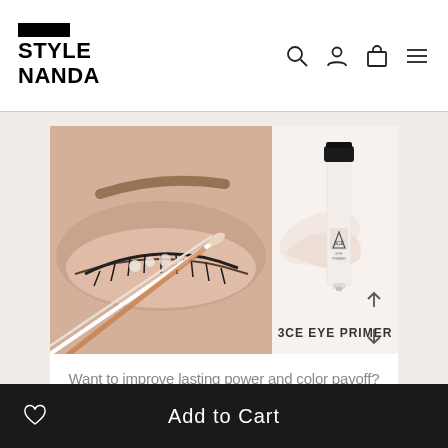STYLE NANDA
[Figure (photo): Close-up photo of a model's eye with a makeup brush applying eye primer, alongside a product shot of 3CE Eye Primer tube with cream swatch on a beige background]
3CE EYE PRIMER
Want to improve lasting power and color payoff?
Use a small amount of primer before eyeshadow
It elevates color pay off as well as adherence,
Add to Cart